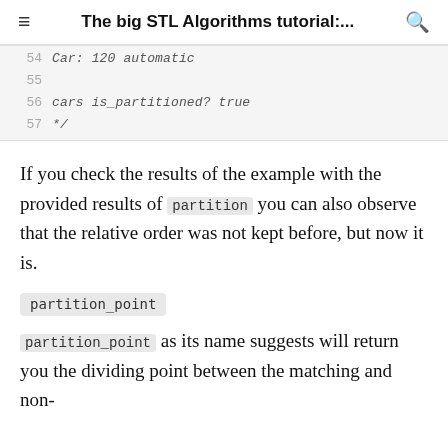The big STL Algorithms tutorial:...
[Figure (screenshot): Code block showing lines 54-57: line 54: Car: 120 automatic, line 55: (blank), line 56: cars is_partitioned? true, line 57: */]
If you check the results of the example with the provided results of partition you can also observe that the relative order was not kept before, but now it is.
partition_point
partition_point as its name suggests will return you the dividing point between the matching and non-matching elements.